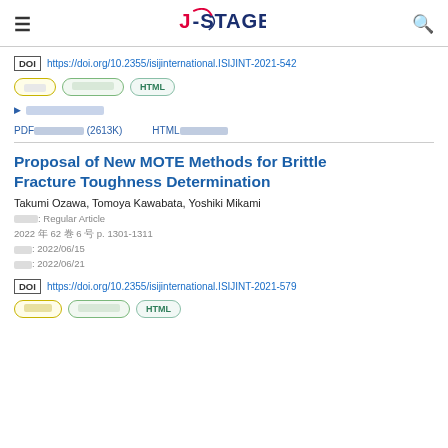J-STAGE navigation bar with hamburger menu, J-STAGE logo, and search icon
DOI https://doi.org/10.2355/isijinternational.ISIJINT-2021-542
[tags: Japanese tag, Japanese tag, HTML]
▶ [Japanese expandable section]
PDF全文をダウンロード (2613K)    HTMLをダウンロード
Proposal of New MOTE Methods for Brittle Fracture Toughness Determination
Takumi Ozawa, Tomoya Kawabata, Yoshiki Mikami
論文種別: Regular Article
2022 年 62 巻 6 号 p. 1301-1311
発行日: 2022/06/15
公開日: 2022/06/21
DOI https://doi.org/10.2355/isijinternational.ISIJINT-2021-579
[tags: Japanese tag, Japanese tag, HTML]